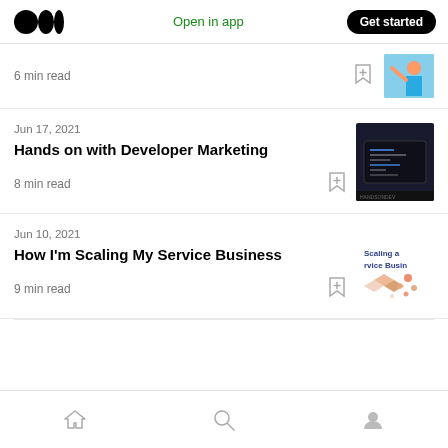Medium logo | Open in app | Get started
6 min read
Jun 17, 2021
Hands on with Developer Marketing
8 min read
Jun 10, 2021
How I'm Scaling My Service Business
9 min read
Home | Search | Profile